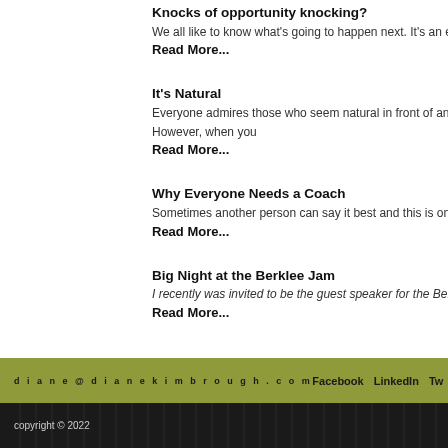Knocks of opportunity knocking?
We all like to know what's going to happen next. It's an e
Read More...
It's Natural
Everyone admires those who seem natural in front of an... However, when you
Read More...
Why Everyone Needs a Coach
Sometimes another person can say it best and this is on
Read More...
Big Night at the Berklee Jam
I recently was invited to be the guest speaker for the Ber
Read More...
diane@dianekimbrough.com | Facebook | LinkedIn | Tw
copyright © 2022